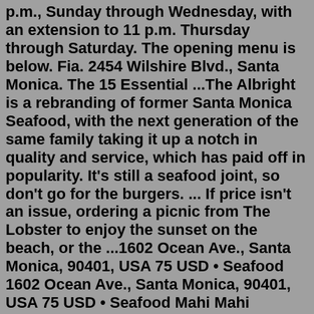p.m., Sunday through Wednesday, with an extension to 11 p.m. Thursday through Saturday. The opening menu is below. Fia. 2454 Wilshire Blvd., Santa Monica. The 15 Essential ...The Albright is a rebranding of former Santa Monica Seafood, with the next generation of the same family taking it up a notch in quality and service, which has paid off in popularity. It's still a seafood joint, so don't go for the burgers. ... If price isn't an issue, ordering a picnic from The Lobster to enjoy the sunset on the beach, or the ...1602 Ocean Ave., Santa Monica, 90401, USA 75 USD • Seafood 1602 Ocean Ave., Santa Monica, 90401, USA 75 USD • Seafood Mahi Mahi Seafood Grill is a restaurant located in Santa Monica, California at 2840 Santa Monica Boulevard. They are open every day of the week. 2840 Santa Monica Boulevard, Santa Monica, CA, 90404. (310) 998-1100.Have had the salmon burger, oysters, lobster rolls, ciopinno, and all that good stuff but the spicy swordfish sliders got me feelin some type of way. go wild. Josh W November 25, 2014 ... santa monica